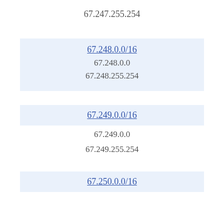67.247.255.254
67.248.0.0/16
67.248.0.0
67.248.255.254
67.249.0.0/16
67.249.0.0
67.249.255.254
67.250.0.0/16